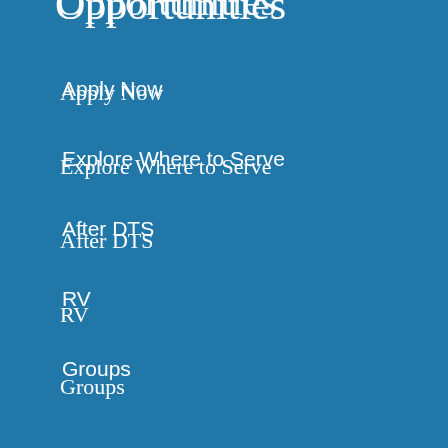Opportunities
Apply Now
Explore Where to Serve
After DTS
RV
Groups
Resources
Read Our Blog
Make a Donation
Get Email Updates